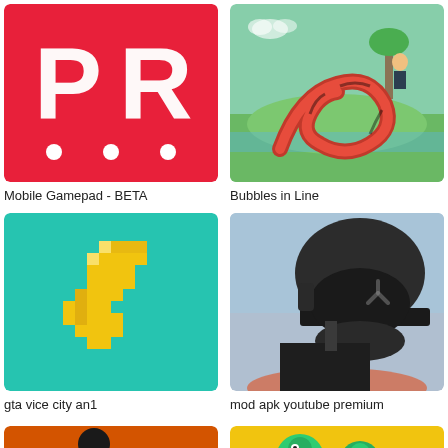[Figure (screenshot): Mobile Gamepad - BETA app icon: red background with white PR letters and dots]
Mobile Gamepad - BETA
[Figure (screenshot): Bubbles in Line app icon: snake game scene with red snake on green island, character in background]
Bubbles in Line
[Figure (screenshot): gta vice city an1 app icon: teal circle with pixelated yellow lightning bolt]
gta vice city an1
[Figure (screenshot): mod apk youtube premium app icon: soldier with helmet and nuclear symbol visor, military shooter theme]
mod apk youtube premium
[Figure (screenshot): Partial app icon at bottom left: orange background with dark figure]
[Figure (screenshot): Partial app icon at bottom right: yellow background with green character]